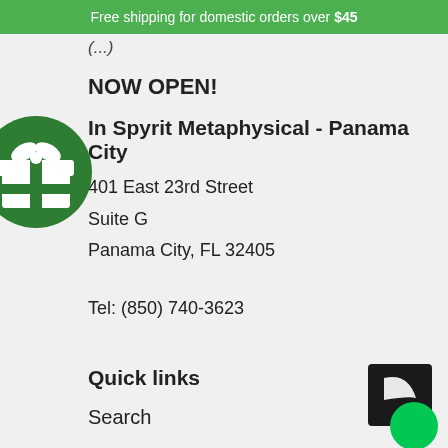Free shipping for domestic orders over $45
(...)
NOW OPEN!
In Spyrit Metaphysical - Panama City
401 East 23rd Street
Suite G
Panama City, FL 32405
Tel: (850) 740-3623
Quick links
Search
[Figure (illustration): Green gift/present icon circle on left side, and a small black square with green circle widget in bottom right corner]